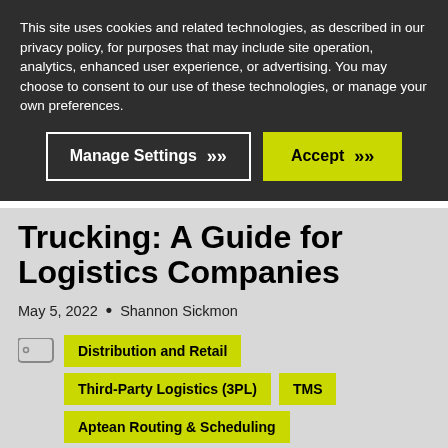This site uses cookies and related technologies, as described in our privacy policy, for purposes that may include site operation, analytics, enhanced user experience, or advertising. You may choose to consent to our use of these technologies, or manage your own preferences.
Manage Settings
Accept
Trucking: A Guide for Logistics Companies
May 5, 2022 • Shannon Sickmon
Distribution and Retail
Third-Party Logistics (3PL)
TMS
Aptean Routing & Scheduling
Routing & Scheduling Optimization